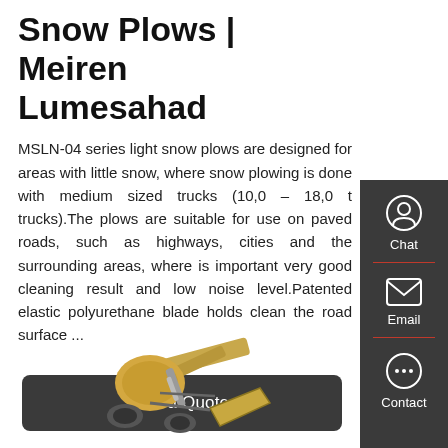Snow Plows | Meiren Lumesahad
MSLN-04 series light snow plows are designed for areas with little snow, where snow plowing is done with medium sized trucks (10,0 – 18,0 t trucks).The plows are suitable for use on paved roads, such as highways, cities and the surrounding areas, where is important very good cleaning result and low noise level.Patented elastic polyurethane blade holds clean the road surface ...
Get a Quote
[Figure (photo): Snow plow equipment (yellow/tan colored plow arm and blade assembly) photographed from below/side angle against white background]